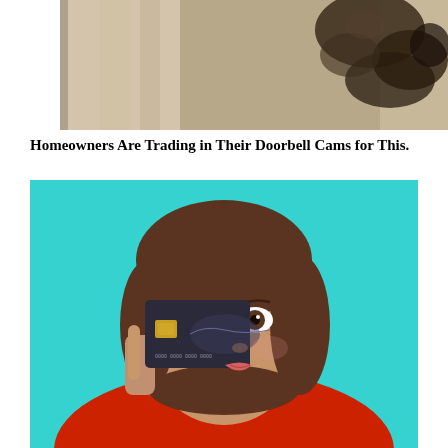[Figure (photo): Partial top image showing a beige/tan curtain or wall on the left and dark blotchy spots on the right, appears to be a cropped portion of a larger photograph]
Homeowners Are Trading in Their Doorbell Cams for This.
[Figure (photo): A young woman with short brown hair wearing a red sweater, holding a dark credit card in front of her right eye, posing against a bright teal/turquoise background, with a playful expression]